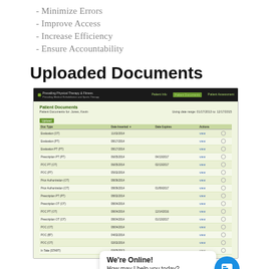- Minimize Errors
- Improve Access
- Increase Efficiency
- Ensure Accountability
Uploaded Documents
[Figure (screenshot): Screenshot of a Patient Documents page in a medical portal showing a table of uploaded documents with columns for Doc Type, Date Inserted, Date Expires, and Actions (VIEW buttons and checkboxes). Rows include Evaluation (OT), Evaluation (PT), Prescription PT (PT), POC PT (OT), POC (PT), Prior Authorization (OT), Prescription PT (PT), Prescription OT (OT), POC PT (OT), Prescription OT (OT), POC (OT), POC (BT), POC (OT), In Take (START). The page header shows a dark navigation bar with Patient Info, Patient Documents, Patient Assessment links. The content area has a light green background.]
We're Online! How may I help you today?
- Accessible Anywhere
- Supports all documents